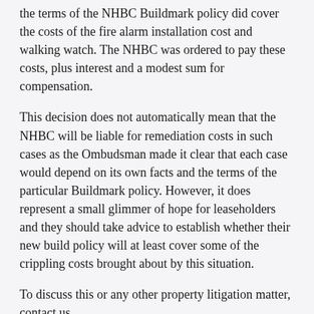the terms of the NHBC Buildmark policy did cover the costs of the fire alarm installation cost and walking watch. The NHBC was ordered to pay these costs, plus interest and a modest sum for compensation.
This decision does not automatically mean that the NHBC will be liable for remediation costs in such cases as the Ombudsman made it clear that each case would depend on its own facts and the terms of the particular Buildmark policy. However, it does represent a small glimmer of hope for leaseholders and they should take advice to establish whether their new build policy will at least cover some of the crippling costs brought about by this situation.
To discuss this or any other property litigation matter, contact us.
Latest News for Business Archive
23 AUG 2022